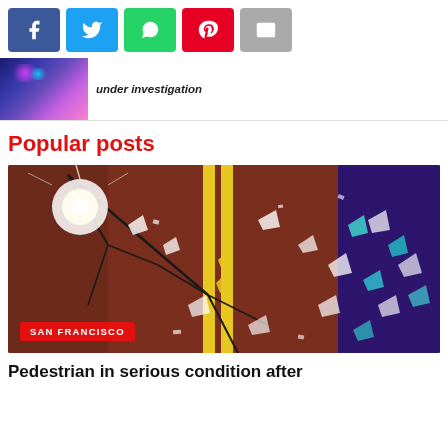[Figure (other): Social share buttons: Facebook, Twitter, WhatsApp, Pinterest, Email]
[Figure (photo): Small thumbnail of police car lights (blue/purple) for previous post]
under investigation
Popular posts
[Figure (photo): Shattered glass on road with yellow double lines, colorful broken glass with blue/purple right side]
SAN FRANCISCO
Pedestrian in serious condition after